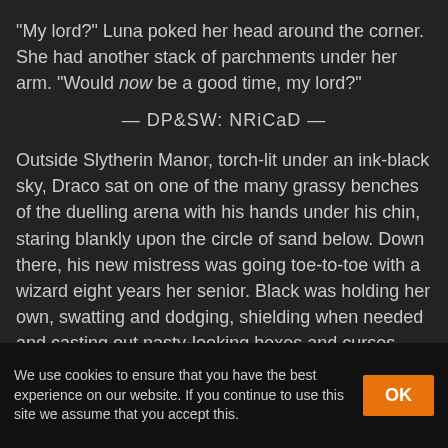"My lord?" Luna poked her head around the corner. She had another stack of parchments under her arm. "Would now be a good time, my lord?"
— DP&SW: NRiCaD —
Outside Slytherin Manor, torch-lit under an ink-black sky, Draco sat on one of the many grassy benches of the duelling arena with his hands under his chin, staring blankly upon the circle of sand below. Down there, his new mistress was going toe-to-toe with a wizard eight years her senior. Black was holding her own, swatting and dodging, shielding when needed and casting out nasty-looking hexes and curses when the opportunities presented themselves.
We use cookies to ensure that you have the best experience on our website. If you continue to use this site we assume that you accept this.